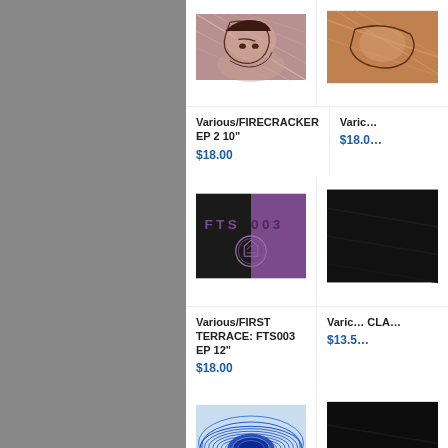[Figure (photo): Comic-style illustration in pink/red tones - album cover for FIRECRACKER EP 2 10"]
Various/FIRECRACKER EP 2 10"
$18.00
[Figure (photo): Partial album cover image in warm tones, right side cropped]
Varic... $18.0...
[Figure (illustration): FTS 003 album cover - split black and purple design with FTS 003 text and stamp logo]
Various/FIRST TERRACE: FTS003 EP 12"
$18.00
[Figure (illustration): Dark/black album cover, right side cropped]
Varic... CLA... $13.5...
[Figure (illustration): Blue wave/contour line art album cover]
[Figure (photo): Dark album cover, bottom right, partially visible]